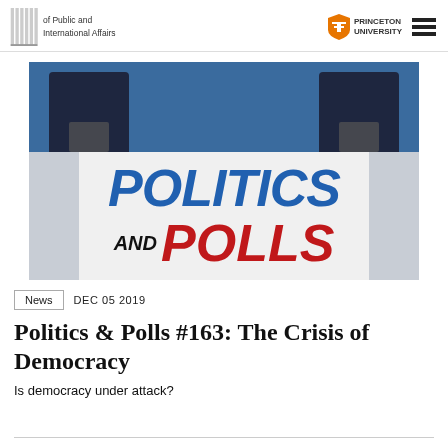of Public and International Affairs | PRINCETON UNIVERSITY
[Figure (photo): Podcast cover image showing two men at podiums with microphones against a blue curtain background, overlaid with large bold text reading 'POLITICS AND POLLS' — 'POLITICS' in blue, 'AND' in black, 'POLLS' in red]
News   DEC 05 2019
Politics & Polls #163: The Crisis of Democracy
Is democracy under attack?